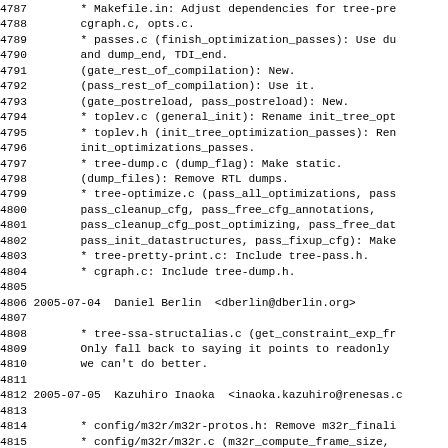4787        * Makefile.in: Adjust dependencies for tree-pre cgraph.c, opts.c.
4788
4789        * passes.c (finish_optimization_passes): Use du and dump_end, TDI_end.
4790
4791        (gate_rest_of_compilation): New.
4792        (pass_rest_of_compilation): Use it.
4793        (gate_postreload, pass_postreload): New.
4794        * toplev.c (general_init): Rename init_tree_opt
4795        * toplev.h (init_tree_optimization_passes): Ren init_optimizations_passes.
4796
4797        * tree-dump.c (dump_flag): Make static.
4798        (dump_files): Remove RTL dumps.
4799        * tree-optimize.c (pass_all_optimizations, pass pass_cleanup_cfg, pass_free_cfg_annotations,
4800
4801        pass_cleanup_cfg_post_optimizing, pass_free_dat pass_init_datastructures, pass_fixup_cfg): Make
4802
4803        * tree-pretty-print.c: Include tree-pass.h.
4804        * cgraph.c: Include tree-dump.h.
4805
4806 2005-07-04  Daniel Berlin  <dberlin@dberlin.org>
4807
4808        * tree-ssa-structalias.c (get_constraint_exp_fr Only fall back to saying it points to readonly we can't do better.
4809
4810
4811
4812 2005-07-05  Kazuhiro Inaoka  <inaoka.kazuhiro@renesas.c
4813
4814        * config/m32r/m32r-protos.h: Remove m32r_finali
4815        * config/m32r/m32r.c (m32r_compute_frame_size, m32r_expand_prologue): Take current_function_pr account whenever we reference
4816
4817        current_function_uses_pic_offset_table.
4818
4787        * Makefile.in: Adjust dependencies for tree-pre
4788        cgraph.c, opts.c.
4789        * passes.c (finish_optimization_passes): Use du
4790        and dump_end, TDI_end.
4791        (gate_rest_of_compilation): New.
4792        (pass_rest_of_compilation): Use it.
4793        (gate_postreload, pass_postreload): New.
4794        * toplev.c (general_init): Rename init_tree_opt
4795        * toplev.h (init_tree_optimization_passes): Ren
4796        init_optimizations_passes.
4797        * tree-dump.c (dump_flag): Make static.
4798        (dump_files): Remove RTL dumps.
4799        * tree-optimize.c (pass_all_optimizations, pass
4800        pass_cleanup_cfg, pass_free_cfg_annotations,
4801        pass_cleanup_cfg_post_optimizing, pass_free_dat
4802        pass_init_datastructures, pass_fixup_cfg): Make
4803        * tree-pretty-print.c: Include tree-pass.h.
4804        * cgraph.c: Include tree-dump.h.
4806 2005-07-04  Daniel Berlin  <dberlin@dberlin.org>
4808        * tree-ssa-structalias.c (get_constraint_exp_fr
4809        Only fall back to saying it points to readonly
4810        we can't do better.
4812 2005-07-05  Kazuhiro Inaoka  <inaoka.kazuhiro@renesas.c
4814        * config/m32r/m32r-protos.h: Remove m32r_finali
4815        * config/m32r/m32r.c (m32r_compute_frame_size,
4816        m32r_expand_prologue): Take current_function_pr
4817        account whenever we reference
4818        current_function_uses_pic_offset_table.